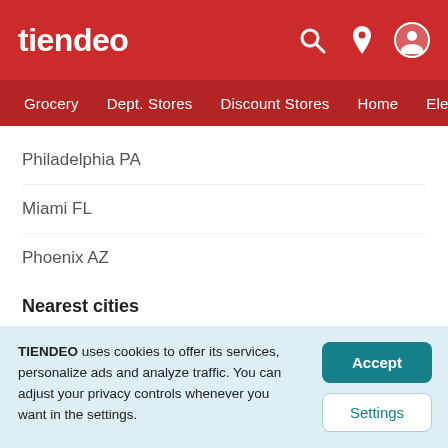tiendeo
Grocery  Dept. Stores  Discount Stores  Home  Electronics
Philadelphia PA
Miami FL
Phoenix AZ
Nearest cities
Mentor OH to 36.03 Km
TIENDEO uses cookies to offer its services, personalize ads and analyze traffic. You can adjust your privacy controls whenever you want in the settings.